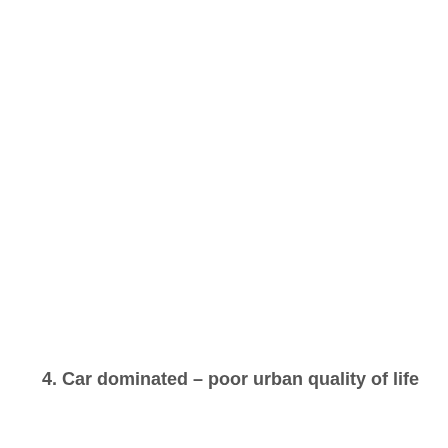4. Car dominated – poor urban quality of life